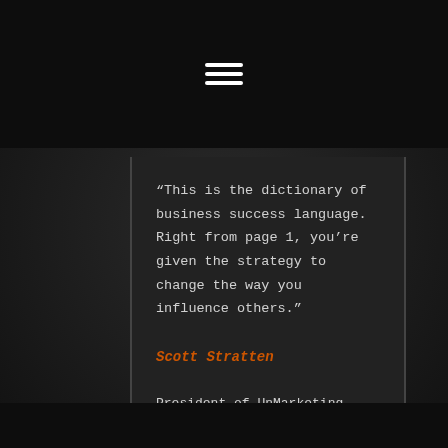[Figure (other): Hamburger menu icon (three horizontal white lines) on a dark background header bar]
“This is the dictionary of business success language. Right from page 1, you’re given the strategy to change the way you influence others.”
Scott Stratten
President of UnMarketing Inc, and best-selling author of the UnMarketing series